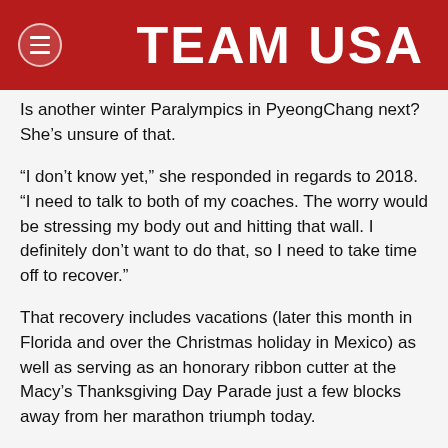TEAM USA
Is another winter Paralympics in PyeongChang next? She’s unsure of that.
“I don’t know yet,” she responded in regards to 2018. “I need to talk to both of my coaches. The worry would be stressing my body out and hitting that wall. I definitely don’t want to do that, so I need to take time off to recover.”
That recovery includes vacations (later this month in Florida and over the Christmas holiday in Mexico) as well as serving as an honorary ribbon cutter at the Macy’s Thanksgiving Day Parade just a few blocks away from her marathon triumph today.